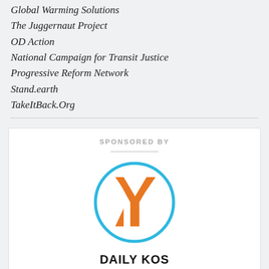Global Warming Solutions
The Juggernaut Project
OD Action
National Campaign for Transit Justice
Progressive Reform Network
Stand.earth
TakeItBack.Org
[Figure (logo): Daily Kos logo: blue circle with orange Y-shaped figure inside, with DAILY KOS text below in bold black, under a SPONSORED BY header with horizontal rule]